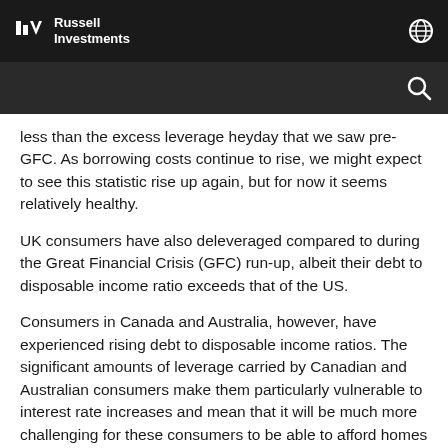Russell Investments
less than the excess leverage heyday that we saw pre-GFC. As borrowing costs continue to rise, we might expect to see this statistic rise up again, but for now it seems relatively healthy.
UK consumers have also deleveraged compared to during the Great Financial Crisis (GFC) run-up, albeit their debt to disposable income ratio exceeds that of the US.
Consumers in Canada and Australia, however, have experienced rising debt to disposable income ratios. The significant amounts of leverage carried by Canadian and Australian consumers make them particularly vulnerable to interest rate increases and mean that it will be much more challenging for these consumers to be able to afford homes and service their mortgages. As housing affordability continues to deteriorate, the risks to the housing market will only increase.
Click image to enlarge